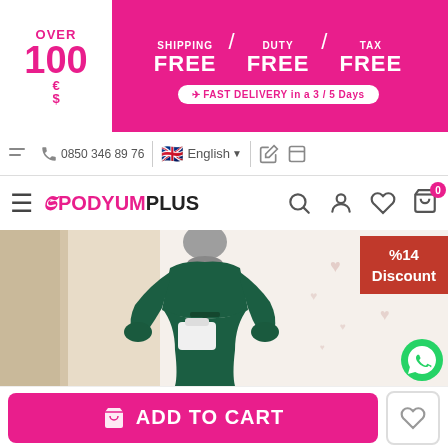[Figure (infographic): Promotional banner: OVER 100 € $ / SHIPPING FREE / DUTY FREE / TAX FREE / FAST DELIVERY in a 3/5 Days]
0850 346 89 76 | English
[Figure (logo): PODYUMPLUS logo with navigation icons]
[Figure (photo): Woman wearing dark green modest dress with hijab, holding white bag. %14 Discount badge in top right. WhatsApp button bottom right.]
ADD TO CART